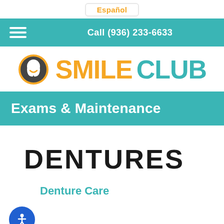Español
Call (936) 233-6633
[Figure (logo): Smile Club dental logo: circular icon with tooth and smile, orange SMILE text, teal CLUB text]
Exams & Maintenance
DENTURES
Denture Care